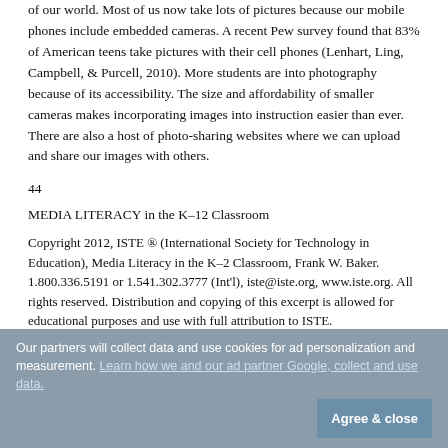of our world. Most of us now take lots of pictures because our mobile phones include embedded cameras. A recent Pew survey found that 83% of American teens take pictures with their cell phones (Lenhart, Ling, Campbell, & Purcell, 2010). More students are into photography because of its accessibility. The size and affordability of smaller cameras makes incorporating images into instruction easier than ever. There are also a host of photo-sharing websites where we can upload and share our images with others.
44
MEDIA LITERACY in the K–12 Classroom
Copyright 2012, ISTE ® (International Society for Technology in Education), Media Literacy in the K–2 Classroom, Frank W. Baker. 1.800.336.5191 or 1.541.302.3777 (Int'l), iste@iste.org, www.iste.org. All rights reserved. Distribution and copying of this excerpt is allowed for educational purposes and use with full attribution to ISTE.
Our partners will collect data and use cookies for ad personalization and measurement. Learn how we and our ad partner Google, collect and use data. Agree & close